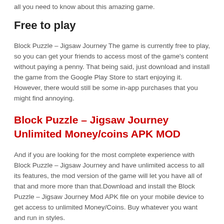all you need to know about this amazing game.
Free to play
Block Puzzle – Jigsaw Journey The game is currently free to play, so you can get your friends to access most of the game's content without paying a penny. That being said, just download and install the game from the Google Play Store to start enjoying it. However, there would still be some in-app purchases that you might find annoying.
Block Puzzle – Jigsaw Journey Unlimited Money/coins APK MOD
And if you are looking for the most complete experience with Block Puzzle – Jigsaw Journey and have unlimited access to all its features, the mod version of the game will let you have all of that and more more than that.Download and install the Block Puzzle – Jigsaw Journey Mod APK file on your mobile device to get access to unlimited Money/Coins. Buy whatever you want and run in styles.